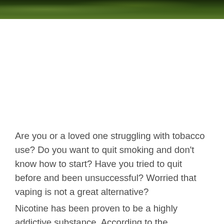[Figure (photo): Partial photo strip at the top of the page showing green foliage/trees against a dark background, cropped to a narrow horizontal band.]
Are you or a loved one struggling with tobacco use? Do you want to quit smoking and don't know how to start? Have you tried to quit before and been unsuccessful? Worried that vaping is not a great alternative?
Nicotine has been proven to be a highly addictive substance. According to the Diagnostic Statistic